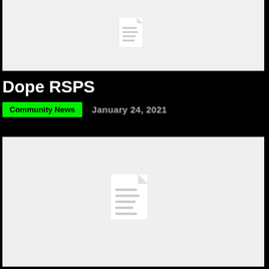[Figure (illustration): Document placeholder icon on light gray background (top)]
Dope RSPS
Community News   January 24, 2021
[Figure (illustration): Document placeholder icon on light gray background (bottom)]